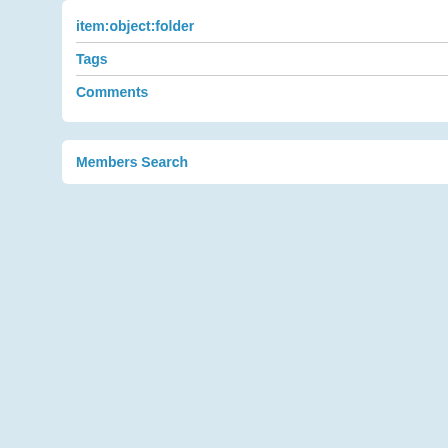item:object:folder
Tags
Comments
Members Search
Looking ahead to
As I predicted in the successful year for EDEN. Throughout
tag_names:tags: p
2441 days ago
How expert use of initiative
The publication last Connection" has c opinion was that c
tag_names:tags: p
2441 days ago
Openness Remain
The EDEN commu taken place in Eur Among these victi
tag_names:tags: p
2470 days ago
Much More Than A